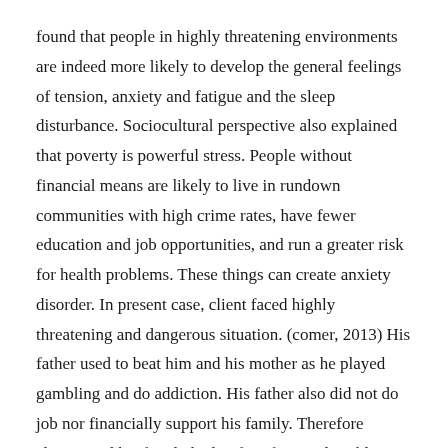found that people in highly threatening environments are indeed more likely to develop the general feelings of tension, anxiety and fatigue and the sleep disturbance. Sociocultural perspective also explained that poverty is powerful stress. People without financial means are likely to live in rundown communities with high crime rates, have fewer education and job opportunities, and run a greater risk for health problems. These things can create anxiety disorder. In present case, client faced highly threatening and dangerous situation. (comer, 2013) His father used to beat him and his mother as he played gambling and do addiction. His father also did not do job nor financially support his family. Therefore client's and his family had to face financial problem. This type of home environment may create tension and anxiety in the client.
In psycho-dynamic perspective, Sigmund Freud believed that